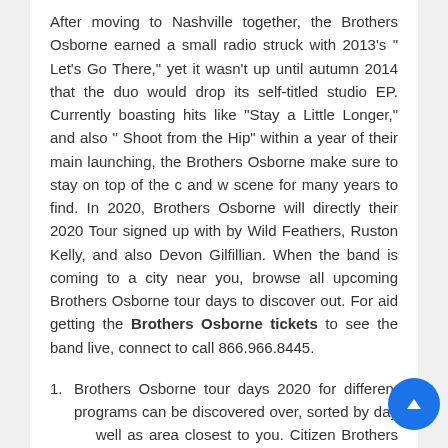After moving to Nashville together, the Brothers Osborne earned a small radio struck with 2013's " Let's Go There," yet it wasn't up until autumn 2014 that the duo would drop its self-titled studio EP. Currently boasting hits like "Stay a Little Longer," and also " Shoot from the Hip" within a year of their main launching, the Brothers Osborne make sure to stay on top of the c and w scene for many years to find. In 2020, Brothers Osborne will directly their 2020 Tour signed up with by Wild Feathers, Ruston Kelly, and also Devon Gilfillian. When the band is coming to a city near you, browse all upcoming Brothers Osborne tour days to discover out. For aid getting the Brothers Osborne tickets to see the band live, connect to call 866.966.8445.
1. Brothers Osborne tour days 2020 for different programs can be discovered over, sorted by day well as area closest to you. Citizen Brothers Osborne